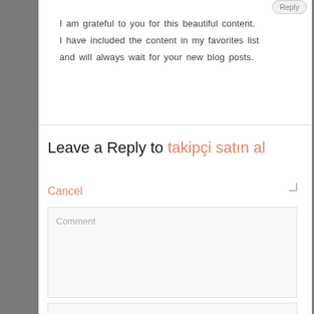I am grateful to you for this beautiful content. I have included the content in my favorites list and will always wait for your new blog posts.
Leave a Reply to takipçi satın al   Cancel
Comment
Name